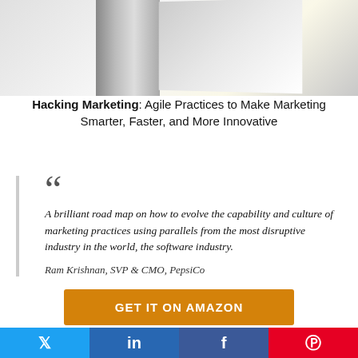[Figure (photo): Top portion of a book cover for 'Hacking Marketing' by Wiley publisher, showing spine and cover at an angle on a light background]
Hacking Marketing: Agile Practices to Make Marketing Smarter, Faster, and More Innovative
“A brilliant road map on how to evolve the capability and culture of marketing practices using parallels from the most disruptive industry in the world, the software industry.”

Ram Krishnan, SVP & CMO, PepsiCo
GET IT ON AMAZON
[Figure (infographic): Social share buttons row: Twitter (blue), LinkedIn (dark blue), Facebook (blue), Pinterest (red)]